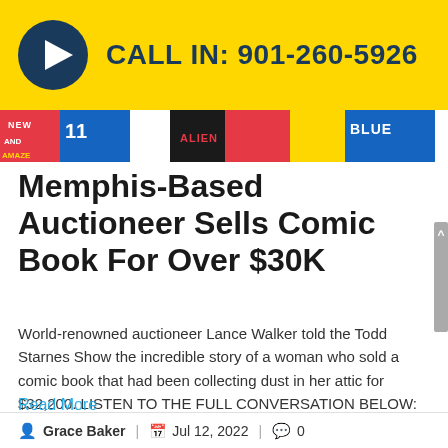CALL IN: 901-260-5926
[Figure (photo): Comic book cover image strip showing colorful comic book art]
Memphis-Based Auctioneer Sells Comic Book For Over $30K
World-renowned auctioneer Lance Walker told the Todd Starnes Show the incredible story of a woman who sold a comic book that had been collecting dust in her attic for $32,200. LISTEN TO THE FULL CONVERSATION BELOW: The following is a rushed transcript from the Todd...
Read More
Grace Baker | Jul 12, 2022 | 0